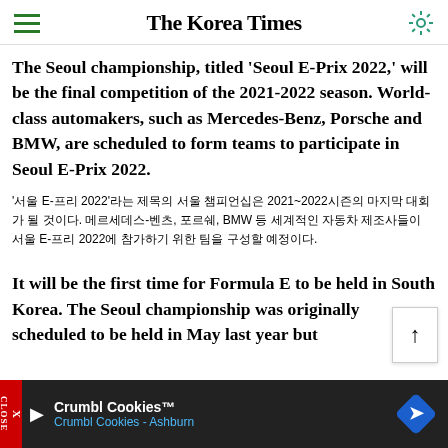The Korea Times
The Seoul championship, titled 'Seoul E-Prix 2022,' will be the final competition of the 2021-2022 season. World-class automakers, such as Mercedes-Benz, Porsche and BMW, are scheduled to form teams to participate in Seoul E-Prix 2022.
'서울 E-프리 2022'라는 제목의 서울 챔피언십은 2021~2022시즌의 마지막 대회가 될 것이다. 메르세데스-벤츠, 포르쉐, BMW 등 세계적인 자동차 제조사들이 서울 E-프리 2022에 참가하기 위한 팀을 구성할 예정이다.
It will be the first time for Formula E to be held in South Korea. The Seoul championship was originally scheduled to be held in May last year but